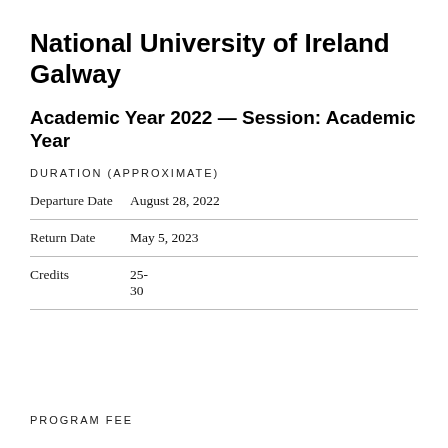National University of Ireland Galway
Academic Year 2022 — Session: Academic Year
DURATION (APPROXIMATE)
|  |  |
| --- | --- |
| Departure Date | August 28, 2022 |
| Return Date | May 5, 2023 |
| Credits | 25-
30 |
PROGRAM FEE